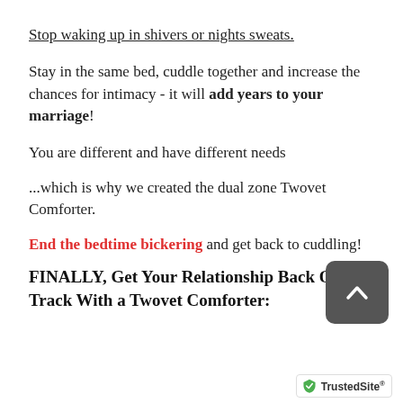Stop waking up in shivers or nights sweats.
Stay in the same bed, cuddle together and increase the chances for intimacy - it will add years to your marriage!
You are different and have different needs
...which is why we created the dual zone Twovet Comforter.
End the bedtime bickering and get back to cuddling!
FINALLY, Get Your Relationship Back On Track With a Twovet Comforter: